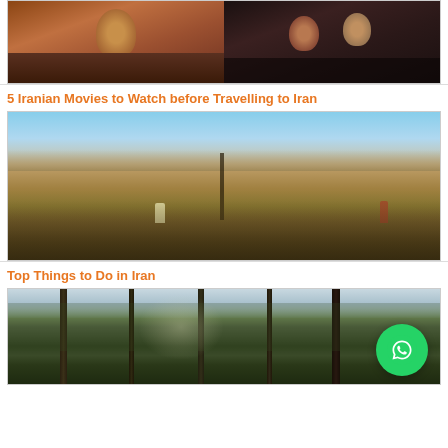[Figure (photo): Two movie stills side by side - partial crop at top of page]
5 Iranian Movies to Watch before Travelling to Iran
[Figure (photo): Outdoor landscape in Iran with arid mountains in the background, tables and people in the foreground]
Top Things to Do in Iran
[Figure (photo): Forest or tree-lined area, partially visible, with WhatsApp button overlay]